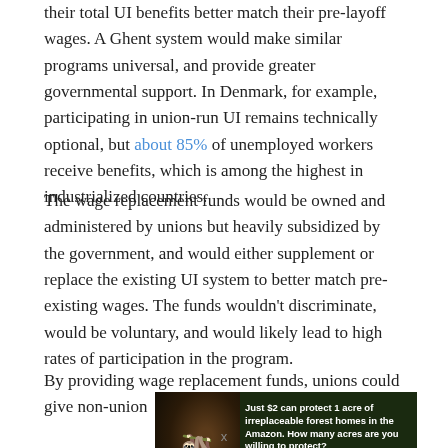their total UI benefits better match their pre-layoff wages. A Ghent system would make similar programs universal, and provide greater governmental support. In Denmark, for example, participating in union-run UI remains technically optional, but about 85% of unemployed workers receive benefits, which is among the highest in industrialized countries.
The wage replacement funds would be owned and administered by unions but heavily subsidized by the government, and would either supplement or replace the existing UI system to better match pre-existing wages. The funds wouldn't discriminate, would be voluntary, and would likely lead to high rates of participation in the program.
By providing wage replacement funds, unions could give non-union
[Figure (infographic): Advertisement banner with dark forest background showing an animal (orangutan/sloth), with text: 'Just $2 can protect 1 acre of irreplaceable forest homes in the Amazon. How many acres are you willing to protect?' and a green 'PROTECT FORESTS NOW' button.]
x